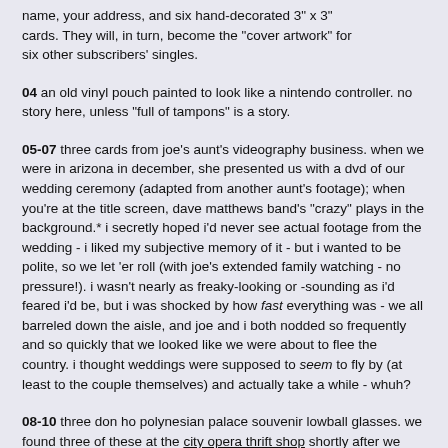name, your address, and six hand-decorated 3" x 3" cards. They will, in turn, become the "cover artwork" for six other subscribers' singles.
04 an old vinyl pouch painted to look like a nintendo controller. no story here, unless "full of tampons" is a story.
05-07 three cards from joe's aunt's videography business. when we were in arizona in december, she presented us with a dvd of our wedding ceremony (adapted from another aunt's footage); when you're at the title screen, dave matthews band's "crazy" plays in the background.* i secretly hoped i'd never see actual footage from the wedding - i liked my subjective memory of it - but i wanted to be polite, so we let 'er roll (with joe's extended family watching - no pressure!). i wasn't nearly as freaky-looking or -sounding as i'd feared i'd be, but i was shocked by how fast everything was - we all barreled down the aisle, and joe and i both nodded so frequently and so quickly that we looked like we were about to flee the country. i thought weddings were supposed to seem to fly by (at least to the couple themselves) and actually take a while - whuh?
08-10 three don ho polynesian palace souvenir lowball glasses. we found three of these at the city opera thrift shop shortly after we moved to the city; i get a few more via ebay every few years. we don't really drink cocktails, but they're spiffy for wine (i avoid stemmed